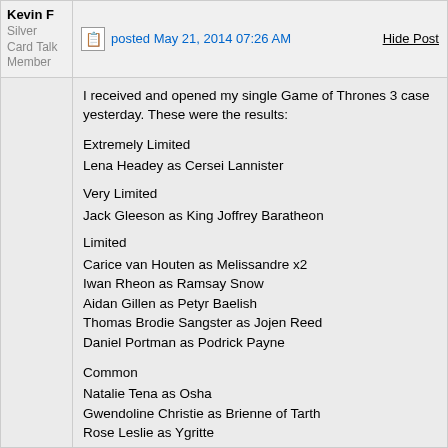Kevin F
Silver Card Talk Member
posted May 21, 2014 07:26 AM
Hide Post
I received and opened my single Game of Thrones 3 case yesterday. These were the results:
Extremely Limited
Lena Headey as Cersei Lannister
Very Limited
Jack Gleeson as King Joffrey Baratheon
Limited
Carice van Houten as Melissandre x2
Iwan Rheon as Ramsay Snow
Aidan Gillen as Petyr Baelish
Thomas Brodie Sangster as Jojen Reed
Daniel Portman as Podrick Payne
Common
Natalie Tena as Osha
Gwendoline Christie as Brienne of Tarth
Rose Leslie as Ygritte
Natalie Dormer as Margaery Tyrell
Sophie Turner as Sansa Stark
Gethin Anthony as Renly Baratheon
Mark Stanley as Grenn (partially visible)